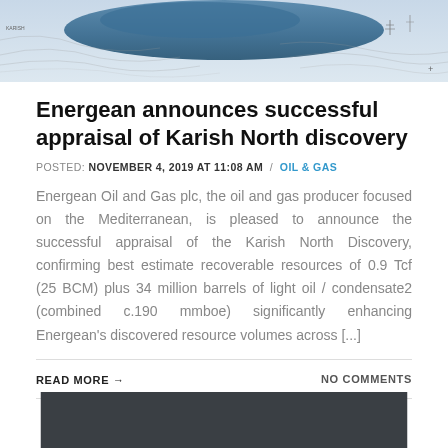[Figure (photo): Aerial or satellite map image of a coastal/sea area with blue water and land topography lines, partially visible at top of page]
Energean announces successful appraisal of Karish North discovery
POSTED: NOVEMBER 4, 2019 AT 11:08 AM  /  OIL & GAS
Energean Oil and Gas plc, the oil and gas producer focused on the Mediterranean, is pleased to announce the successful appraisal of the Karish North Discovery, confirming best estimate recoverable resources of 0.9 Tcf (25 BCM) plus 34 million barrels of light oil / condensate2 (combined c.190 mmboe) significantly enhancing Energean's discovered resource volumes across [...]
READ MORE →
NO COMMENTS
[Figure (photo): Dark gray/charcoal background image, partially visible at bottom of page]